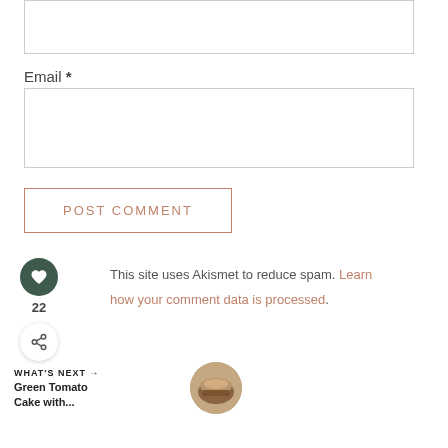[Figure (screenshot): Empty text input box at top of page (partial, cropped)]
Email *
[Figure (screenshot): Email input text box]
[Figure (screenshot): POST COMMENT button with terracotta/rose border and text]
This site uses Akismet to reduce spam. Learn how your comment data is processed.
[Figure (infographic): Social sidebar with heart icon (dark green circle), count 22, and share icon]
WHAT'S NEXT →
Green Tomato Cake with...
[Figure (photo): Circular thumbnail image of a cake]